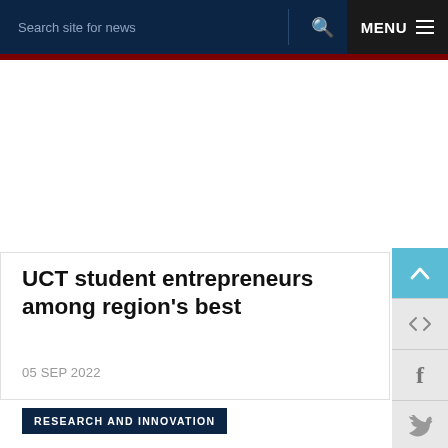Search site for news   MENU
UCT student entrepreneurs among region's best
05 SEP 2022
RESEARCH AND INNOVATION